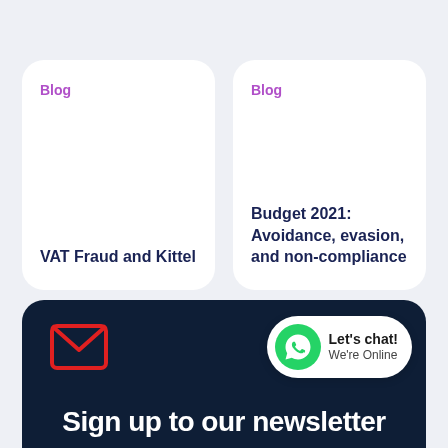Blog
VAT Fraud and Kittel
Blog
Budget 2021: Avoidance, evasion, and non-compliance
[Figure (infographic): Dark navy newsletter signup banner with red email envelope icon, WhatsApp chat bubble showing 'Let's chat! We're Online', and partial text 'Sign up to our newsletter']